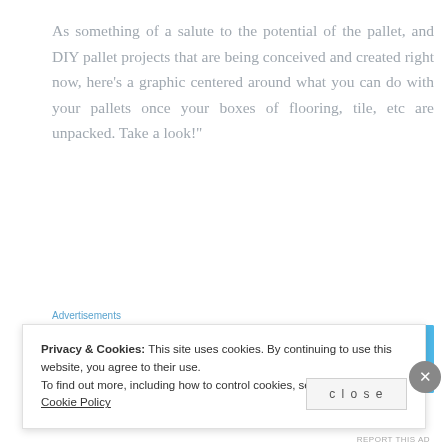As something of a salute to the potential of the pallet, and DIY pallet projects that are being conceived and created right now, here’s a graphic centered around what you can do with your pallets once your boxes of flooring, tile, etc are unpacked. Take a look!”
Advertisements
[Figure (infographic): Advertisement banner with light blue background and circular icons/avatars arranged in a row with small cross/plus symbols between them]
Privacy & Cookies: This site uses cookies. By continuing to use this website, you agree to their use.
To find out more, including how to control cookies, see here: Our Cookie Policy
close